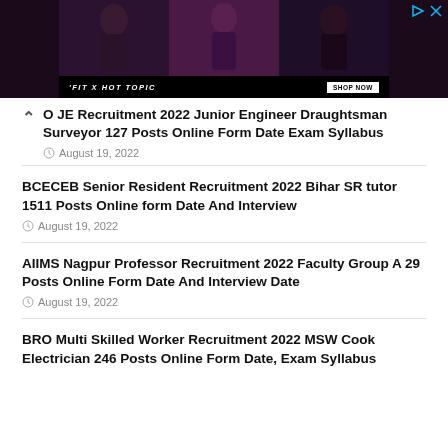[Figure (photo): Advertisement banner for 'FIT X HOT TOPIC' featuring three women in dark/punk style clothing against dark backgrounds, with 'FIT X HOT TOPIC' text and 'SHOP NOW' button at bottom. Also shows play and close icons in top-right corner.]
O JE Recruitment 2022 Junior Engineer Draughtsman Surveyor 127 Posts Online Form Date Exam Syllabus
August 19, 2022
BCECEB Senior Resident Recruitment 2022 Bihar SR tutor 1511 Posts Online form Date And Interview
August 19, 2022
AIIMS Nagpur Professor Recruitment 2022 Faculty Group A 29 Posts Online Form Date And Interview Date
August 19, 2022
BRO Multi Skilled Worker Recruitment 2022 MSW Cook Electrician 246 Posts Online Form Date, Exam Syllabus